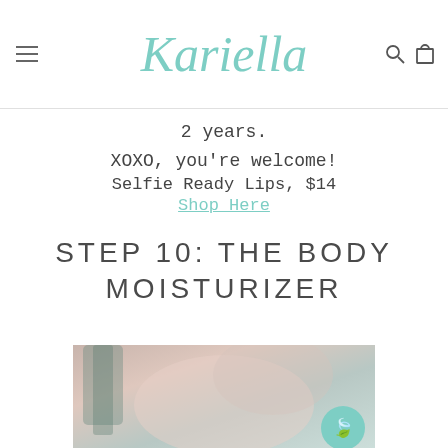Kariella
2 years.
XOXO, you're welcome!
Selfie Ready Lips, $14
Shop Here
STEP 10: THE BODY MOISTURIZER
[Figure (photo): Blurred background photo, soft blush and teal tones, beauty/skincare context]